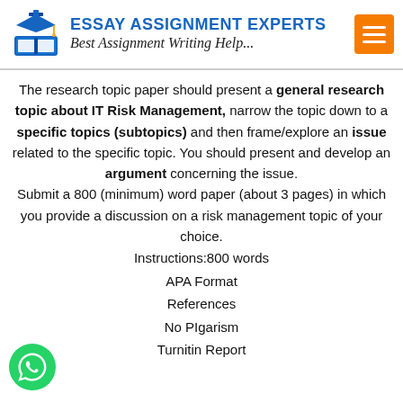[Figure (logo): Essay Assignment Experts logo with graduation cap and book icon, blue and white, with orange hamburger menu button]
The research topic paper should present a general research topic about IT Risk Management, narrow the topic down to a specific topics (subtopics) and then frame/explore an issue related to the specific topic. You should present and develop an argument concerning the issue. Submit a 800 (minimum) word paper (about 3 pages) in which you provide a discussion on a risk management topic of your choice.
Instructions:800 words
APA Format
References
No PIgarism
Turnitin Report